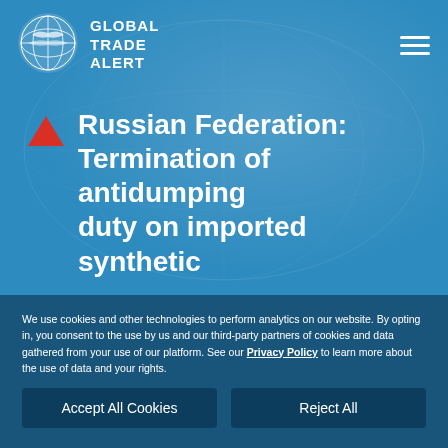[Figure (logo): Global Trade Alert logo — globe icon with text GLOBAL TRADE ALERT]
Russian Federation: Termination of antidumping duty on imported synthetic
We use cookies and other technologies to perform analytics on our website. By opting in, you consent to the use by us and our third-party partners of cookies and data gathered from your use of our platform. See our Privacy Policy to learn more about the use of data and your rights.
Accept All Cookies
Reject All